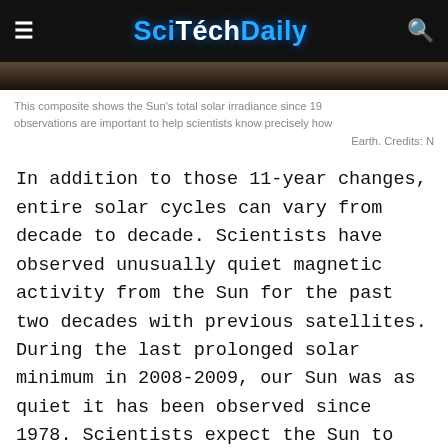SciTechDaily
This composite shows the Sun's total solar irradiance since 19... observations are important to help scientists know precisely how... Earth. Credits: N...
In addition to those 11-year changes, entire solar cycles can vary from decade to decade. Scientists have observed unusually quiet magnetic activity from the Sun for the past two decades with previous satellites. During the last prolonged solar minimum in 2008-2009, our Sun was as quiet it has been observed since 1978. Scientists expect the Sun to enter a solar minimum within the next three years, and TSIS-1 will be primed to take measurements of the next minimum.